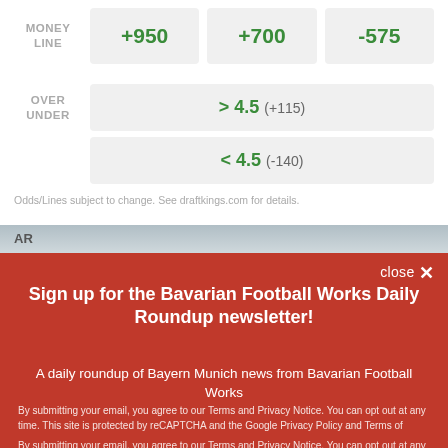|  | Team 1 | Team 2 | Team 3 |
| --- | --- | --- | --- |
| MONEY LINE | +950 | +700 | -575 |
| OVER UNDER | > 4.5 (+115) |  |  |
|  | < 4.5 (-140) |  |  |
Odds/Lines subject to change. See draftkings.com for details.
Sign up for the Bavarian Football Works Daily Roundup newsletter!
A daily roundup of Bayern Munich news from Bavarian Football Works
Email (required)
SUBSCRIBE
By submitting your email, you agree to our Terms and Privacy Notice. You can opt out at any time. This site is protected by reCAPTCHA and the Google Privacy Policy and Terms of Service apply.